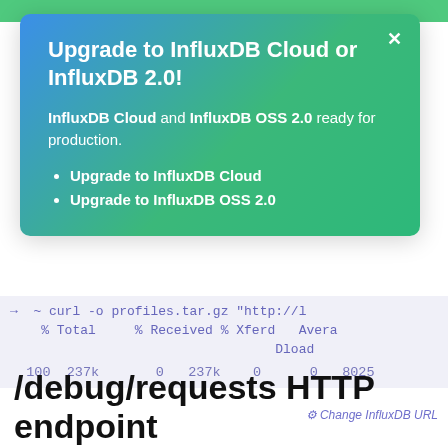[Figure (screenshot): Top green navigation bar at the top of the page]
Upgrade to InfluxDB Cloud or InfluxDB 2.0!
InfluxDB Cloud and InfluxDB OSS 2.0 ready for production.
Upgrade to InfluxDB Cloud
Upgrade to InfluxDB OSS 2.0
→ ~ curl -o profiles.tar.gz "http://1
% Total    % Received % Xferd   Avera
                              Dload
100  237k       0   237k    0     0   8025
⚙ Change InfluxDB URL
/debug/requests HTTP endpoint